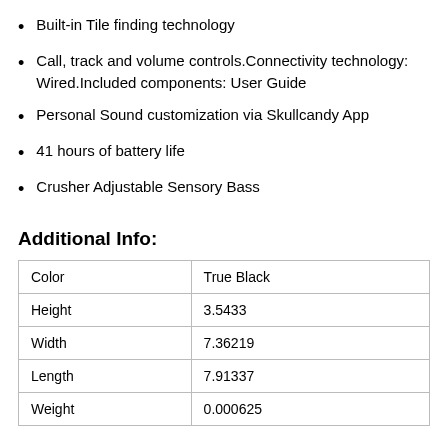Built-in Tile finding technology
Call, track and volume controls.Connectivity technology: Wired.Included components: User Guide
Personal Sound customization via Skullcandy App
41 hours of battery life
Crusher Adjustable Sensory Bass
Additional Info:
| Color | True Black |
| Height | 3.5433 |
| Width | 7.36219 |
| Length | 7.91337 |
| Weight | 0.000625 |